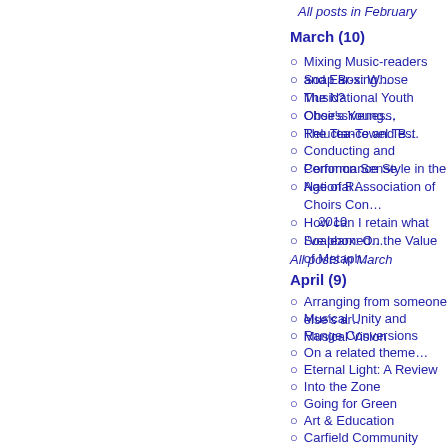All posts in February
March (10)
Mixing Music-readers and Ear-sing…
Soap Box: Whose Music?
The National Youth Choir's Young…
Obsessiveness, Reluctance and B…
The Tea-Towel Test
Conducting and Common Sense
Performance Style in the Age of R…
National Association of Choirs Con… 2010
How can I retain what I've learned…
Soapbox: On the Value of Metaph…
All posts in March
April (9)
Arranging from someone else's ar…
Musical Unity and Musical Vision
Range Conversions
On a related theme…
Eternal Light: A Review
Into the Zone
Going for Green
Art & Education
Carfield Community Choir
All posts in April
May (10)
Successful Singing Secrets